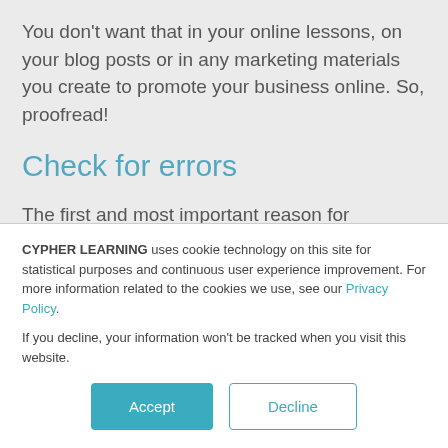You don't want that in your online lessons, on your blog posts or in any marketing materials you create to promote your business online. So, proofread!
Check for errors
The first and most important reason for proofreading everything you create online is that in order to look and sound truly professional, all content must be spelled
CYPHER LEARNING uses cookie technology on this site for statistical purposes and continuous user experience improvement. For more information related to the cookies we use, see our Privacy Policy.
If you decline, your information won't be tracked when you visit this website.